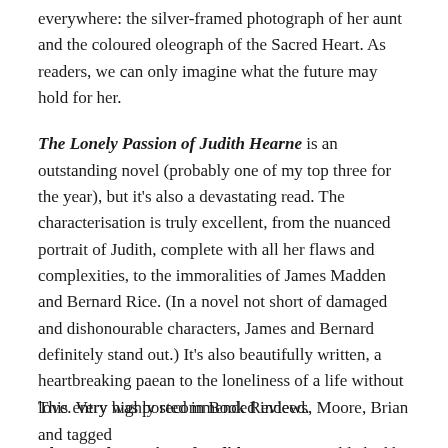everywhere: the silver-framed photograph of her aunt and the coloured oleograph of the Sacred Heart. As readers, we can only imagine what the future may hold for her.
The Lonely Passion of Judith Hearne is an outstanding novel (probably one of my top three for the year), but it's also a devastating read. The characterisation is truly excellent, from the nuanced portrait of Judith, complete with all her flaws and complexities, to the immoralities of James Madden and Bernard Rice. (In a novel not short of damaged and dishonourable characters, James and Bernard definitely stand out.) It's also beautifully written, a heartbreaking paean to the loneliness of a life without love. Very highly recommended indeed.
The Lonely Passion of Judith Hearne is published by NYRB Classics; personal copy
This entry was posted in Book Reviews, Moore, Brian and tagged...